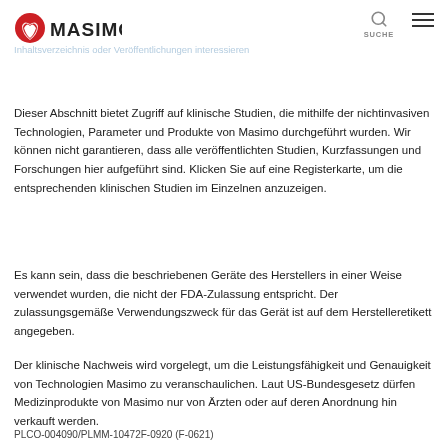Masimo [logo with navigation: SUCHE, menu]
Dieser Abschnitt bietet Zugriff auf klinische Studien, die mithilfe der nichtinvasiven Technologien, Parameter und Produkte von Masimo durchgeführt wurden. Wir können nicht garantieren, dass alle veröffentlichten Studien, Kurzfassungen und Forschungen hier aufgeführt sind. Klicken Sie auf eine Registerkarte, um die entsprechenden klinischen Studien im Einzelnen anzuzeigen.
Es kann sein, dass die beschriebenen Geräte des Herstellers in einer Weise verwendet wurden, die nicht der FDA-Zulassung entspricht. Der zulassungsgemäße Verwendungszweck für das Gerät ist auf dem Herstelleretikett angegeben.
Der klinische Nachweis wird vorgelegt, um die Leistungsfähigkeit und Genauigkeit von Technologien Masimo zu veranschaulichen. Laut US-Bundesgesetz dürfen Medizinprodukte von Masimo nur von Ärzten oder auf deren Anordnung hin verkauft werden.
PLCO-004090/PLMM-10472F-0920 (F-0621)